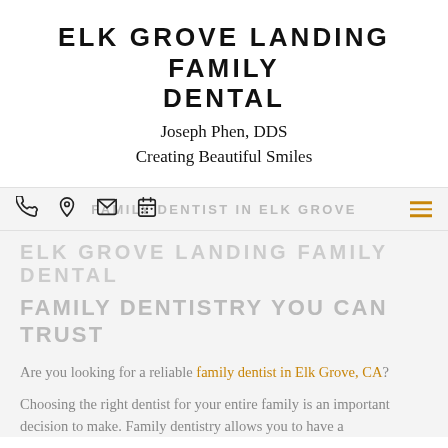ELK GROVE LANDING FAMILY DENTAL
Joseph Phen, DDS
Creating Beautiful Smiles
[Figure (screenshot): Navigation bar with phone, location pin, email, and calendar icons on the left, a hamburger menu icon on the right in gold/orange, and watermark text 'FAMILY DENTIST IN ELK GROVE' overlaid in light gray]
ELK GROVE LANDING FAMILY DENTAL
FAMILY DENTISTRY YOU CAN TRUST
Are you looking for a reliable family dentist in Elk Grove, CA?
Choosing the right dentist for your entire family is an important decision to make. Family dentistry allows you to have a